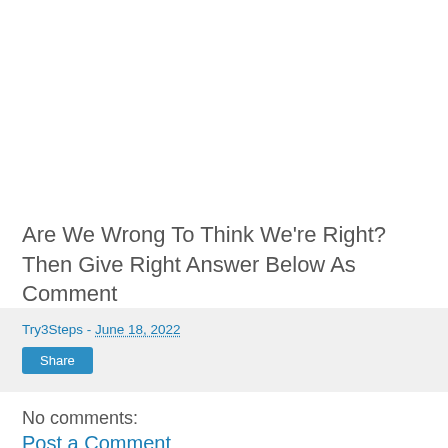Are We Wrong To Think We're Right? Then Give Right Answer Below As Comment
Try3Steps - June 18, 2022
Share
No comments:
Post a Comment